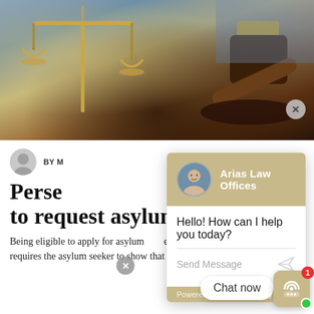[Figure (photo): Hero image showing scales of justice (golden balance scales) and a wooden gavel on a wooden surface, with blurred bookshelves in the background — typical legal/courtroom setting.]
[Figure (screenshot): Live chat widget overlay from Arias Law Offices powered by MobileMonkey. Header shows law firm name in white on tan/khaki background with attorney avatar photo. Body shows message 'Hello! How can I help you today?' with a Send Message input field and a paper-plane send icon. Footer shows 'Powered by MobileMonkey'.]
BY M
Persecution to request asylum
Being eligible to apply for asylum requires the asylum seeker to show that they have